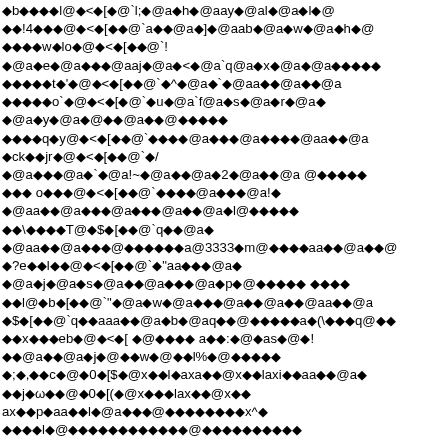Corrupted/encoded text block with diamond replacement characters and @-symbol sequences throughout the page content